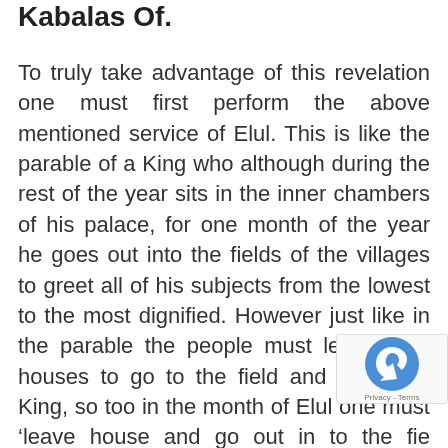Kabalas Of.
To truly take advantage of this revelation one must first perform the above mentioned service of Elul. This is like the parable of a King who although during the rest of the year sits in the inner chambers of his palace, for one month of the year he goes out into the fields of the villages to greet all of his subjects from the lowest to the most dignified. However just like in the parable the people must leave their houses to go to the field and greet the King, so too in the month of Elul one must ‘leave house and go out in to the fie Going out in the fields in the parable